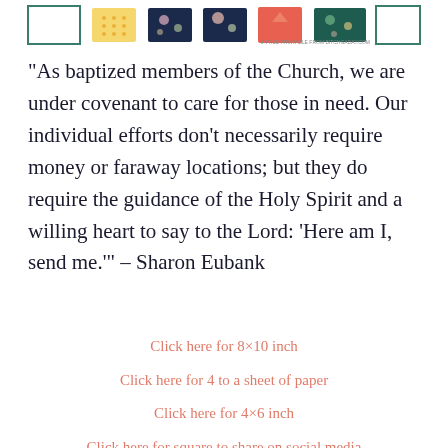[Figure (illustration): Row of decorative dress/fabric pattern thumbnails and printable card previews at the top of the page, with a small watermark text 'FREE PRINTABLE FROM BITCHGADAY.COM' at the far right.]
“As baptized members of the Church, we are under covenant to care for those in need. Our individual efforts don’t necessarily require money or faraway locations; but they do require the guidance of the Holy Spirit and a willing heart to say to the Lord: ‘Here am I, send me.’” – Sharon Eubank
Click here for 8×10 inch
Click here for 4 to a sheet of paper
Click here for 4×6 inch
Click here for square to share on social media